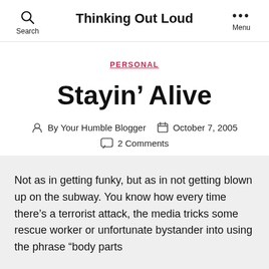Thinking Out Loud
PERSONAL
Stayin’ Alive
By Your Humble Blogger  October 7, 2005  2 Comments
Not as in getting funky, but as in not getting blown up on the subway. You know how every time there’s a terrorist attack, the media tricks some rescue worker or unfortunate bystander into using the phrase “body parts